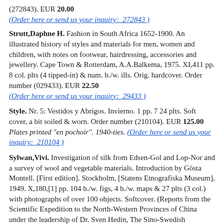(272843). EUR 20.00
(Order here or send us your inquiry:  272843 )
Strutt,Daphne H. Fashion in South Africa 1652-1900. An illustrated history of styles and materials for men, women and children, with notes on footwear, hairdressing, accessories and jewellery. Cape Town & Rotterdam, A.A.Balkema, 1975. XI,411 pp. 8 col. plts (4 tipped-in) & num. b./w. ills. Orig. hardcover. Order number (029433). EUR 22.50
(Order here or send us your inquiry:  29433 )
Style. Nr. 5: Vestidos y Abrigos. Invierno. 1 pp. 7 24 plts. Soft cover, a bit soiled & worn. Order number (210104). EUR 125.00
Plates printed "en pochoir". 1940-ties. (Order here or send us your inquiry:  210104 )
Sylwan,Vivi. Investigation of silk from Edsen-Gol and Lop-Nor and a survey of wool and vegetable materials. Introduction by Gösta Montell. [First edition]. Stockholm, [Statens Etnografiska Museum], 1949. X,180,[1] pp. 104 b./w. figs, 4 b./w. maps & 27 plts (3 col.) with photographs of over 100 objects. Softcover. (Reports from the Scientific Expedition to the North-Western Provinces of China under the leadership of Dr. Sven Hedin, The Sino-Swedish Expedition, Publication 32. / VII. Archaeology 6). Order number (011208). EUR 125.00